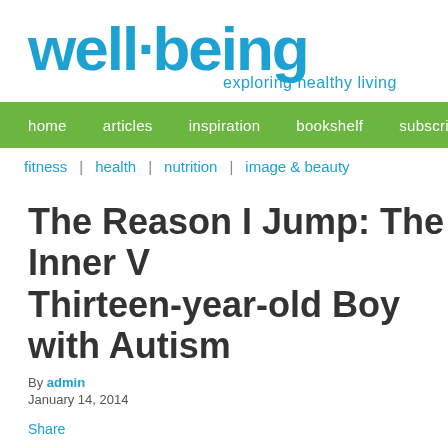[Figure (logo): well·being exploring healthy living logo in blue]
home   articles   inspiration   bookshelf   subscribe   e
fitness | health | nutrition | image & beauty
The Reason I Jump: The Inner V... Thirteen-year-old Boy with Autism
By admin
January 14, 2014
Share